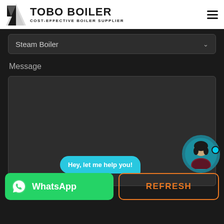[Figure (logo): TOBO BOILER logo with angular boiler icon and text 'COST-EFFECTIVE BOILER SUPPLIER']
Steam Boiler
Message
[Figure (screenshot): Chat widget with bubble saying 'Hey, let me help you!' and customer service avatar]
[Figure (other): WhatsApp button (green) with WhatsApp icon and REFRESH button (orange outline)]